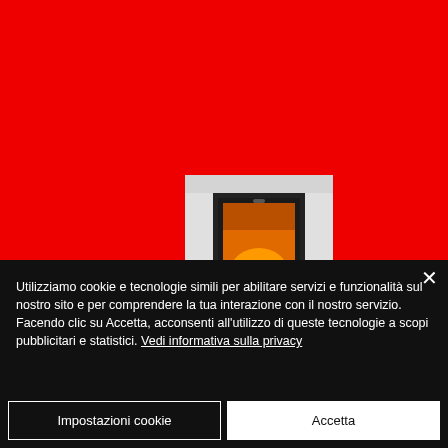[Figure (photo): Red background with a fireplace/wood stove insert showing orange flames visible through a glass door, set in a light-colored surround]
Utilizziamo cookie e tecnologie simili per abilitare servizi e funzionalità sul nostro sito e per comprendere la tua interazione con il nostro servizio.
Facendo clic su Accetta, acconsenti all'utilizzo di queste tecnologie a scopi pubblicitari e statistici. Vedi informativa sulla privacy
Impostazioni cookie
Accetta